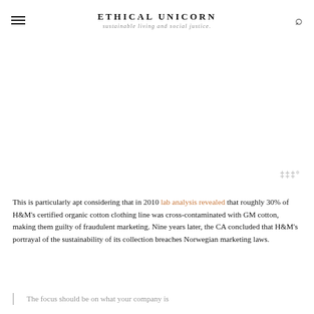ETHICAL UNICORN — sustainable living and social justice.
[Figure (other): White space area with a small watermark icon (three vertical bars with degree symbol) in the lower right corner]
This is particularly apt considering that in 2010 lab analysis revealed that roughly 30% of H&M's certified organic cotton clothing line was cross-contaminated with GM cotton, making them guilty of fraudulent marketing. Nine years later, the CA concluded that H&M's portrayal of the sustainability of its collection breaches Norwegian marketing laws.
The focus should be on what your company is